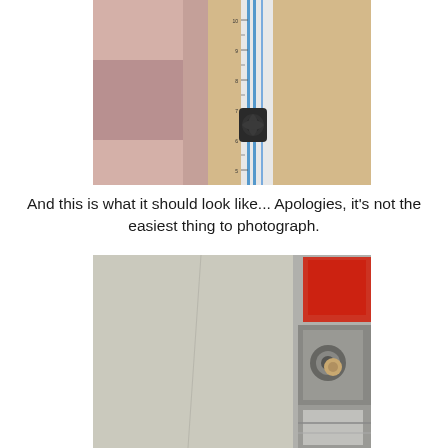[Figure (photo): Close-up photo of a paper trimmer/guillotine cutter showing a ruler guide with blue lines and a black blade mechanism positioned on beige cardboard or paper]
And this is what it should look like... Apologies, it's not the easiest thing to photograph.
[Figure (photo): Photo of a light grey/beige surface (cardboard) with a faint scored or cut line, and cutting equipment visible on the right side including red and metallic components]